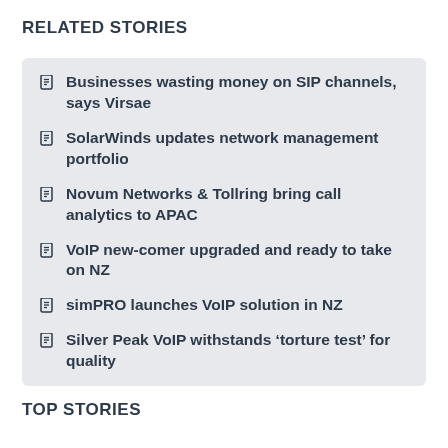RELATED STORIES
Businesses wasting money on SIP channels, says Virsae
SolarWinds updates network management portfolio
Novum Networks & Tollring bring call analytics to APAC
VoIP new-comer upgraded and ready to take on NZ
simPRO launches VoIP solution in NZ
Silver Peak VoIP withstands ‘torture test’ for quality
TOP STORIES